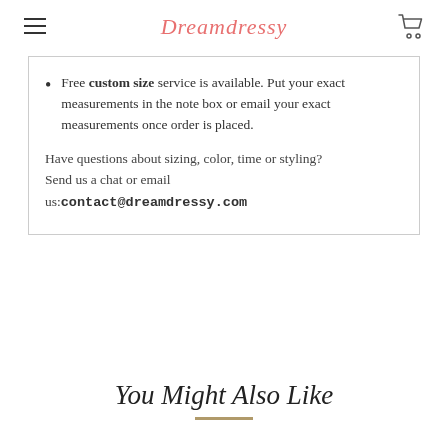Dreamdressy
Free custom size service is available. Put your exact measurements in the note box or email your exact measurements once order is placed.
Have questions about sizing, color, time or styling? Send us a chat or email us:contact@dreamdressy.com
You Might Also Like